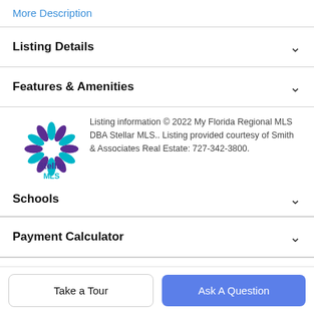More Description
Listing Details
Features & Amenities
Listing information © 2022 My Florida Regional MLS DBA Stellar MLS.. Listing provided courtesy of Smith & Associates Real Estate: 727-342-3800.
[Figure (logo): Stellar MLS logo with star burst and teal/purple text]
Schools
Payment Calculator
Contact Agent
Take a Tour
Ask A Question